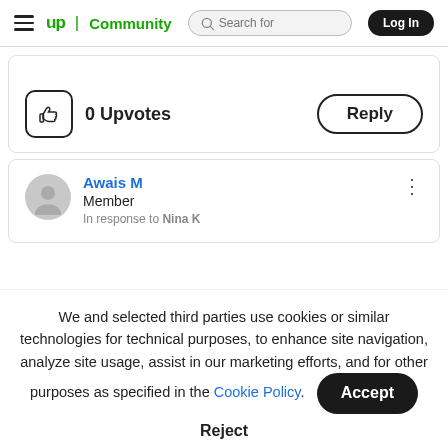Upwork Community | Search for | Log In
[Figure (screenshot): Upvote button (thumbs up icon) and 0 Upvotes text with Reply button]
Awais M
Member
In response to Nina K
We and selected third parties use cookies or similar technologies for technical purposes, to enhance site navigation, analyze site usage, assist in our marketing efforts, and for other purposes as specified in the Cookie Policy.
Accept
Reject